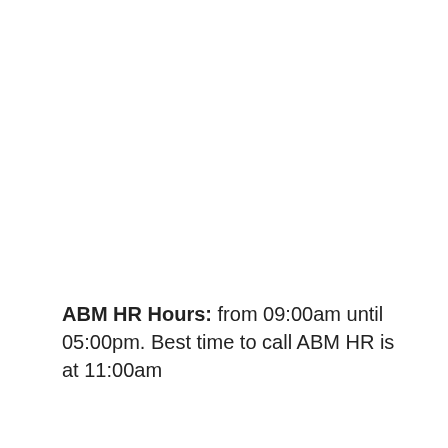ABM HR Hours: from 09:00am until 05:00pm. Best time to call ABM HR is at 11:00am